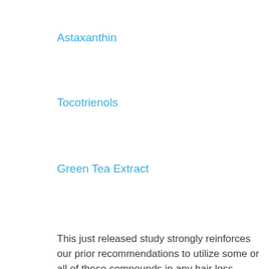Astaxanthin
Tocotrienols
Green Tea Extract
This just released study strongly reinforces our prior recommendations to utilize some or all of these compounds in any hair loss intervention. If using just one or two, it would appear that the combination of Resveratrol and Super BioCurcumin, is particularly potent at addressing oxidation, and inflammation, both androgenetic and when exacerbated by acute stress. I personally use all of them, and may consider moderately increasing my intake. In addition to the benefits for hair growth, NRF2 activation has positive implications for anti-aging, cancer prevention, and